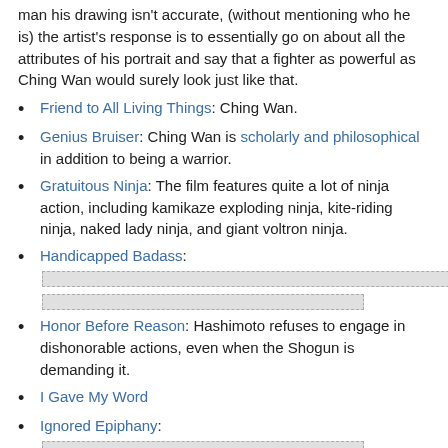man his drawing isn't accurate, (without mentioning who he is) the artist's response is to essentially go on about all the attributes of his portrait and say that a fighter as powerful as Ching Wan would surely look just like that.
Friend to All Living Things: Ching Wan.
Genius Bruiser: Ching Wan is scholarly and philosophical in addition to being a warrior.
Gratuitous Ninja: The film features quite a lot of ninja action, including kamikaze exploding ninja, kite-riding ninja, naked lady ninja, and giant voltron ninja.
Handicapped Badass: [redacted]
Honor Before Reason: Hashimoto refuses to engage in dishonorable actions, even when the Shogun is demanding it.
I Gave My Word
Ignored Epiphany: [redacted]